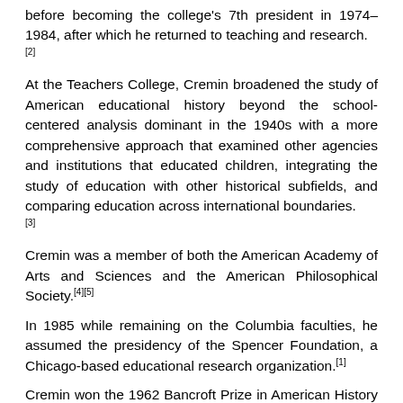before becoming the college's 7th president in 1974–1984, after which he returned to teaching and research. [2]
At the Teachers College, Cremin broadened the study of American educational history beyond the school-centered analysis dominant in the 1940s with a more comprehensive approach that examined other agencies and institutions that educated children, integrating the study of education with other historical subfields, and comparing education across international boundaries. [3]
Cremin was a member of both the American Academy of Arts and Sciences and the American Philosophical Society.[4][5]
In 1985 while remaining on the Columbia faculties, he assumed the presidency of the Spencer Foundation, a Chicago-based educational research organization.[1]
Cremin won the 1962 Bancroft Prize in American History for his book The Transformation of the School: Progressivism in American Education, 1876–1957 (1961), which described the anti-intellectual emphasis on non-academic subjects and non-authoritarian teaching methods that occurred as a result of mushrooming enrollment. He was awarded the 1981 Pulitzer Prize for